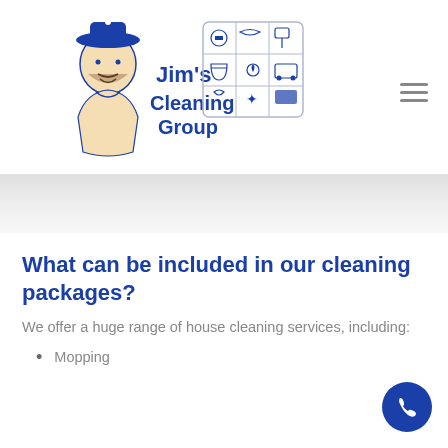[Figure (logo): Jim's Cleaning Group logo with illustrated man wearing hat and grid of cleaning service icons]
What can be included in our cleaning packages?
We offer a huge range of house cleaning services, including:
Mopping